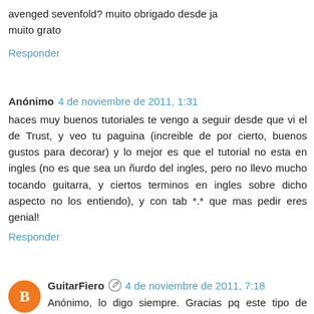avenged sevenfold? muito obrigado desde ja muito grato
Responder
Anónimo  4 de noviembre de 2011, 1:31
haces muy buenos tutoriales te vengo a seguir desde que vi el de Trust, y veo tu paguina (increible de por cierto, buenos gustos para decorar) y lo mejor es que el tutorial no esta en ingles (no es que sea un ñurdo del ingles, pero no llevo mucho tocando guitarra, y ciertos terminos en ingles sobre dicho aspecto no los entiendo), y con tab *.* que mas pedir eres genial!
Responder
GuitarFiero  4 de noviembre de 2011, 7:18
Anónimo, lo digo siempre. Gracias pq este tipo de comentarios es el principal motivo por el que seguir haciendo esto. Siéntete como en tu casa, gracias y un saludo :D